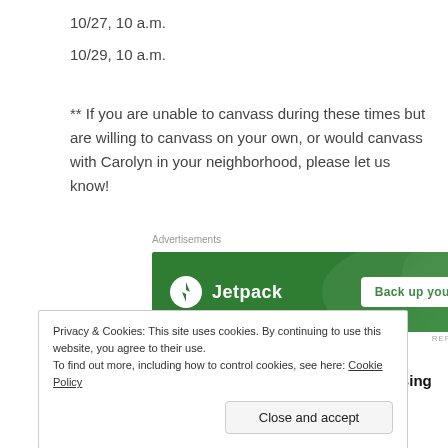10/27, 10 a.m.
10/29, 10 a.m.
** If you are unable to canvass during these times but are willing to canvass on your own, or would canvass with Carolyn in your neighborhood, please let us know!
Advertisements
[Figure (other): Jetpack advertisement banner with green background, Jetpack logo and 'Back up your site' button]
GET OUT THE VOTE- Phonebanking & Canvassing
Privacy & Cookies: This site uses cookies. By continuing to use this website, you agree to their use.
To find out more, including how to control cookies, see here: Cookie Policy
Close and accept
Sunday Nov. 6 – all day 2 hr. shifts